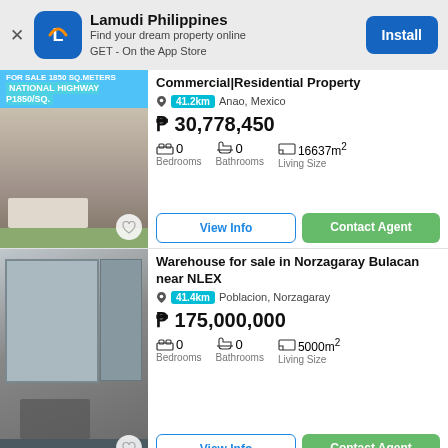[Figure (screenshot): Lamudi Philippines app install banner with logo, tagline 'Find your dream property online GET - On the App Store', and Install button]
[Figure (photo): Commercial/Residential property photo on National Highway, showing a building exterior and parked white car]
Commercial|Residential Property
41.2km  Anao, Mexico
₱ 30,778,450
0 Bedrooms  0 Bathrooms  16637m² Living Size
View Info | Contact Agent
[Figure (photo): Warehouse exterior photo showing large industrial building facade with metal gate and vehicle]
Warehouse for sale in Norzagaray Bulacan near NLEX
41.4km  Poblacion, Norzagaray
₱ 175,000,000
0 Bedrooms  0 Bathrooms  5000m² Living Size
View Info | Contact Agent
[Figure (photo): Partial photo of a warehouse property for sale in Magalang]
Warehouse for Sale in Magalang